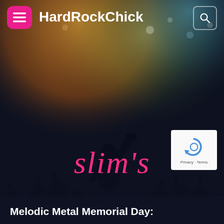[Figure (photo): Concert photo with crowd silhouettes and stage lighting (warm orange/yellow spotlights) with a performer raising hand on stage, dark blue-purple overlay at bottom]
HardRockChick
slim's
[Figure (logo): Google reCAPTCHA badge with circular arrow icon and Privacy/Terms text]
Melodic Metal Memorial Day: